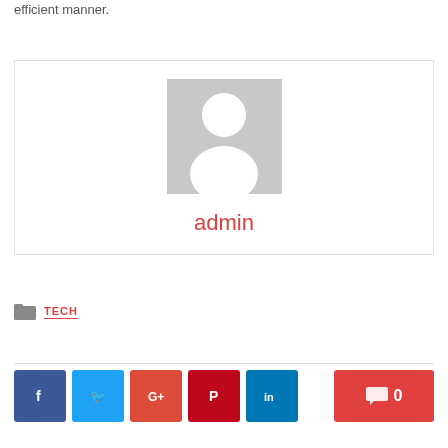efficient manner.
[Figure (illustration): Author box with a generic grey avatar/placeholder image (person silhouette) and the name 'admin' displayed in red below]
TECH
Social sharing buttons: Facebook, Twitter, Google+, Pinterest, LinkedIn. Comment button with count 0.